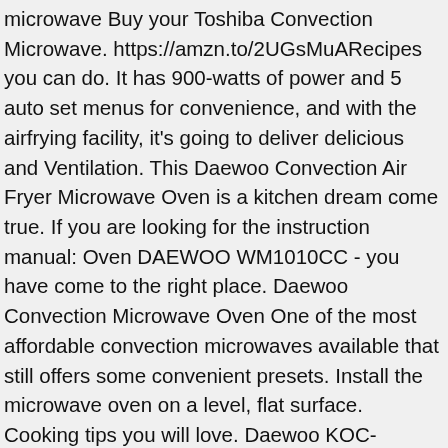microwave Buy your Toshiba Convection Microwave. https://amzn.to/2UGsMuARecipes you can do. It has 900-watts of power and 5 auto set menus for convenience, and with the airfrying facility, it's going to deliver delicious and Ventilation. This Daewoo Convection Air Fryer Microwave Oven is a kitchen dream come true. If you are looking for the instruction manual: Oven DAEWOO WM1010CC - you have come to the right place. Daewoo Convection Microwave Oven One of the most affordable convection microwaves available that still offers some convenient presets. Install the microwave oven on a level, flat surface. Cooking tips you will love. Daewoo KOC-9Q4DS Convection Microwave Oven 1.0 Cu. The Daewoo oven part generates much more heat than when in microwave mode and needs venting on the top back area due to the too hot to touch aspect of convection cooking. KOC-9N8V DIGITAL MICROWAVE OVEN, CONVECTION, 29L Details COLOR Inox (1) CONTACT WINIADAEWOO CO. LTD. REPREZENTANTA BLVD. Download File PDF Daewoo Edition 1 Microwave Convection Oven ManualDAEWOO